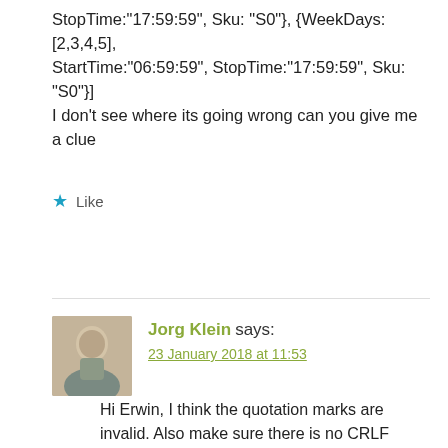StopTime:"17:59:59", Sku: "S0"}, {WeekDays:[2,3,4,5], StartTime:"06:59:59", StopTime:"17:59:59", Sku: "S0"}]
I don't see where its going wrong can you give me a clue
★ Like
Reply
Jorg Klein says:
23 January 2018 at 11:53
Hi Erwin, I think the quotation marks are invalid. Also make sure there is no CRLF (enter) in the string. Usually I copy/paste it to Notepad first to check if it looks valid and contains no CRLFs. Can you try this:
[{WeekDays:[1], StartTime:"06:59:59",